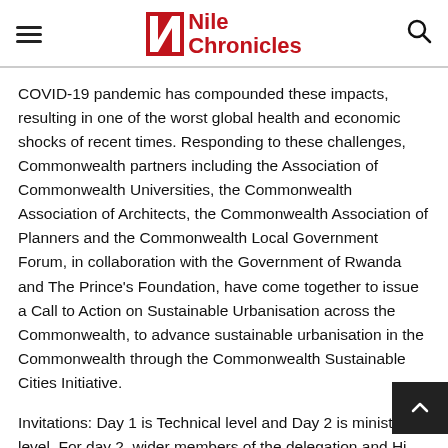Nile Chronicles
COVID-19 pandemic has compounded these impacts, resulting in one of the worst global health and economic shocks of recent times. Responding to these challenges, Commonwealth partners including the Association of Commonwealth Universities, the Commonwealth Association of Architects, the Commonwealth Association of Planners and the Commonwealth Local Government Forum, in collaboration with the Government of Rwanda and The Prince's Foundation, have come together to issue a Call to Action on Sustainable Urbanisation across the Commonwealth, to advance sustainable urbanisation in the Commonwealth through the Commonwealth Sustainable Cities Initiative.
Invitations: Day 1 is Technical level and Day 2 is ministerial level. For day 2, wider members of the delegation and High Commission are also invited to attend. RSVP by e-mailing